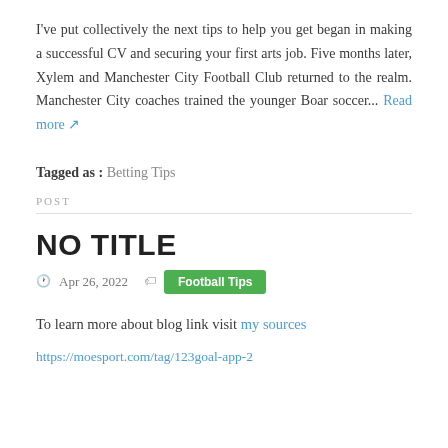I've put collectively the next tips to help you get began in making a successful CV and securing your first arts job. Five months later, Xylem and Manchester City Football Club returned to the realm. Manchester City coaches trained the younger Boar soccer... Read more ↗
Tagged as : Betting Tips
POST
NO TITLE
🕐 Apr 26, 2022  🏷  Football Tips
To learn more about blog link visit my sources
https://moesport.com/tag/123goal-app-2